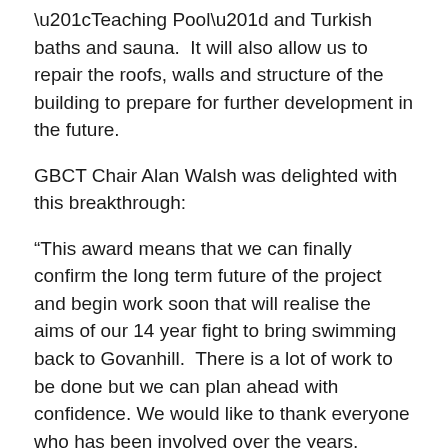“Teaching Pool” and Turkish baths and sauna.  It will also allow us to repair the roofs, walls and structure of the building to prepare for further development in the future.
GBCT Chair Alan Walsh was delighted with this breakthrough:
“This award means that we can finally confirm the long term future of the project and begin work soon that will realise the aims of our 14 year fight to bring swimming back to Govanhill.  There is a lot of work to be done but we can plan ahead with confidence. We would like to thank everyone who has been involved over the years, especially the Project managers of the capital works programme The Prince’s Regeneration Trust who have helped steer us through this funding process.”
Ros Kerslake, Chief Executive of The Prince’s